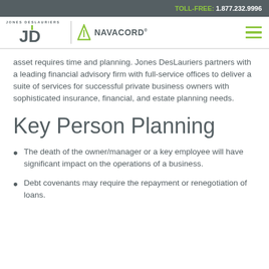TOLL-FREE: 1.877.232.9996
[Figure (logo): Jones DesLauriers JD and Navacord logos with hamburger menu icon]
asset requires time and planning. Jones DesLauriers partners with a leading financial advisory firm with full-service offices to deliver a suite of services for successful private business owners with sophisticated insurance, financial, and estate planning needs.
Key Person Planning
The death of the owner/manager or a key employee will have significant impact on the operations of a business.
Debt covenants may require the repayment or renegotiation of loans.